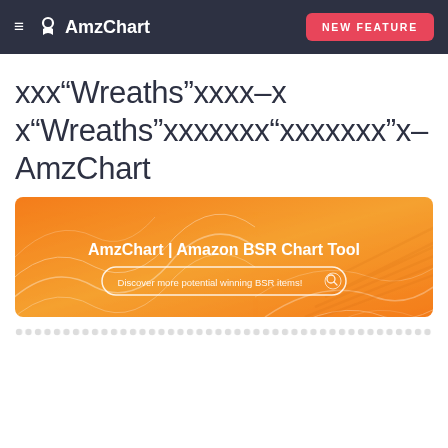≡  AmzChart   NEW FEATURE
xxx"Wreaths"xxxx-x x"Wreaths"xxxxxxx"xxxxxxx"x- AmzChart
[Figure (screenshot): AmzChart orange banner advertisement with text 'AmzChart | Amazon BSR Chart Tool' and a search bar button 'Discover more potential winning BSR items!']